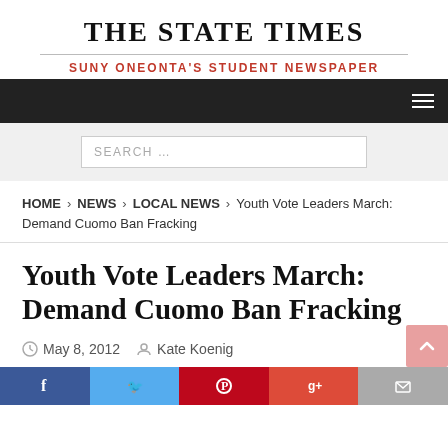THE STATE TIMES
SUNY ONEONTA'S STUDENT NEWSPAPER
SEARCH ...
HOME > NEWS > LOCAL NEWS > Youth Vote Leaders March: Demand Cuomo Ban Fracking
Youth Vote Leaders March: Demand Cuomo Ban Fracking
May 8, 2012  Kate Koenig